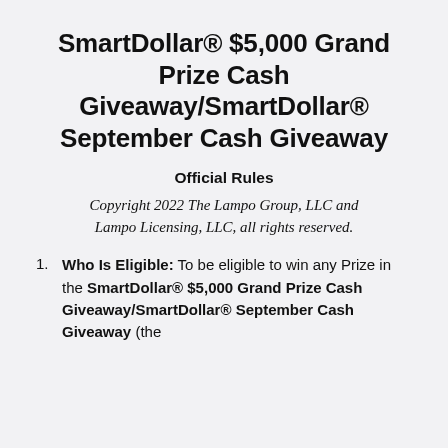SmartDollar® $5,000 Grand Prize Cash Giveaway/SmartDollar® September Cash Giveaway
Official Rules
Copyright 2022 The Lampo Group, LLC and Lampo Licensing, LLC, all rights reserved.
Who Is Eligible: To be eligible to win any Prize in the SmartDollar® $5,000 Grand Prize Cash Giveaway/SmartDollar® September Cash Giveaway (the